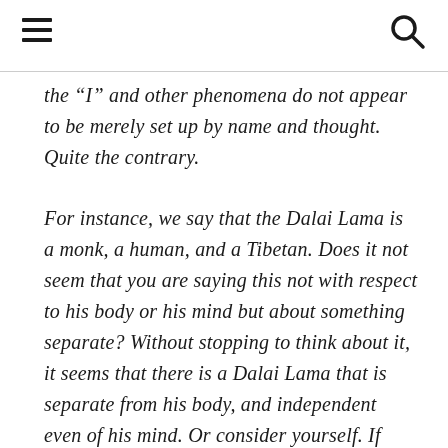[hamburger menu icon] [search icon]
the “I” and other phenomena do not appear to be merely set up by name and thought. Quite the contrary.
For instance, we say that the Dalai Lama is a monk, a human, and a Tibetan. Does it not seem that you are saying this not with respect to his body or his mind but about something separate? Without stopping to think about it, it seems that there is a Dalai Lama that is separate from his body, and independent even of his mind. Or consider yourself. If your name is